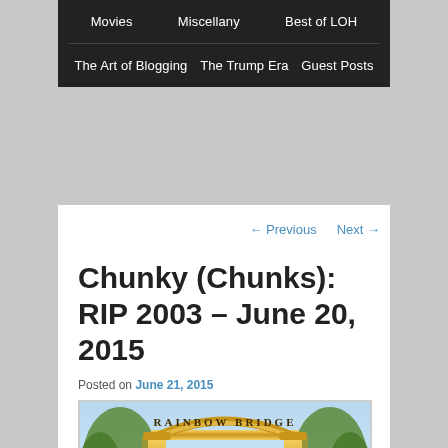Movies   Miscellany   Best of LOH
The Art of Blogging   The Trump Era   Guest Posts
← Previous   Next →
Chunky (Chunks): RIP 2003 – June 20, 2015
Posted on June 21, 2015
[Figure (illustration): Illustration of ornate golden gateway labeled 'RAINBOW BRIDGE' with a rainbow arc visible through the open gates, surrounded by greenery and trees]